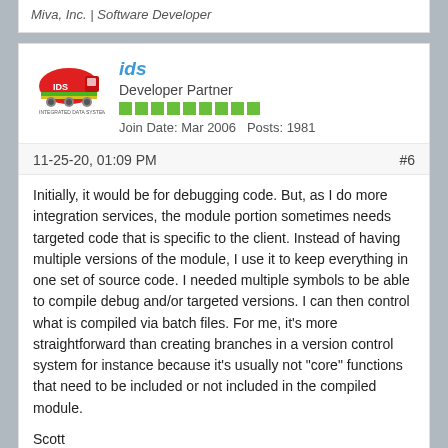Miva, Inc. | Software Developer
[Figure (logo): IDS (Integrated Data Systems) logo - red train/locomotive graphic with green and yellow accents, company name below]
ids
Developer Partner
Join Date: Mar 2006   Posts: 1981
11-25-20, 01:09 PM
#6
Initially, it would be for debugging code. But, as I do more integration services, the module portion sometimes needs targeted code that is specific to the client. Instead of having multiple versions of the module, I use it to keep everything in one set of source code. I needed multiple symbols to be able to compile debug and/or targeted versions. I can then control what is compiled via batch files. For me, it's more straightforward than creating branches in a version control system for instance because it's usually not "core" functions that need to be included or not included in the compiled module.
Scott